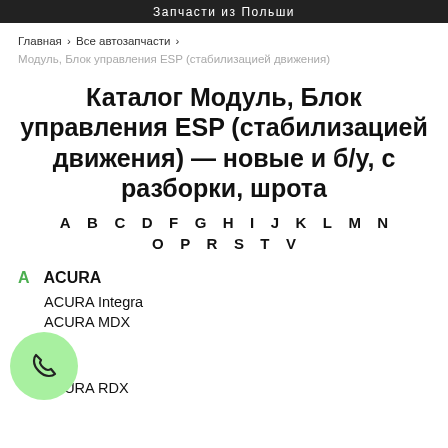Запчасти из Польши
Главная > Все автозапчасти > Модуль, Блок управления ESP (стабилизацией движения)
Каталог Модуль, Блок управления ESP (стабилизацией движения) — новые и б/у, с разборки, шрота
A B C D F G H I J K L M N O P R S T V
A ACURA
ACURA Integra
ACURA MDX
ACURA RDX